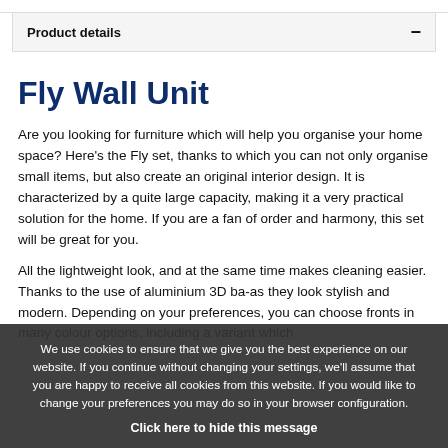Product details
Fly Wall Unit
Are you looking for furniture which will help you organise your home space? Here's the Fly set, thanks to which you can not only organise small items, but also create an original interior design. It is characterized by a quite large capacity, making it a very practical solution for the home. If you are a fan of order and harmony, this set will be great for you.
All the lightweight look, and at the same time makes cleaning easier. Thanks to the use of aluminium 3D ba-as they look stylish and modern. Depending on your preferences, you can choose fronts in many colour options, including a variant which
We use cookies to ensure that we give you the best experience on our website. If you continue without changing your settings, we'll assume that you are happy to receive all cookies from this website. If you would like to change your preferences you may do so in your browser configuration. Click here to hide this message